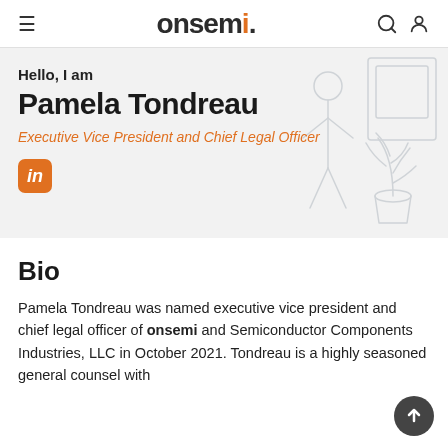onsemi
Hello, I am
Pamela Tondreau
Executive Vice President and Chief Legal Officer
[Figure (illustration): Line-art illustration of a person standing next to a potted plant and framed picture, light gray sketch style]
Bio
Pamela Tondreau was named executive vice president and chief legal officer of onsemi and Semiconductor Components Industries, LLC in October 2021. Tondreau is a highly seasoned general counsel with